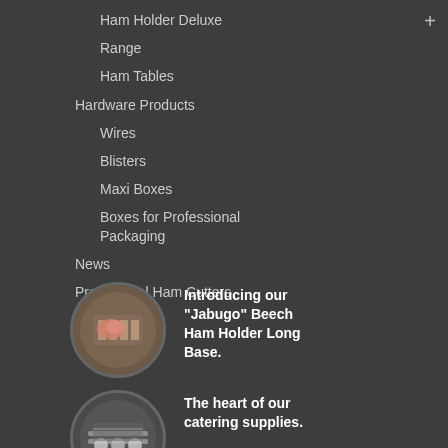Ham Holder Deluxe
Range
Ham Tables
Hardware Products
Wires
Blisters
Maxi Boxes
Boxes for Professional Packaging
News
Proffesional Ham Cutters
[Figure (photo): Circular photo of hands working with a ham holder or wooden rack]
Introducing our "Jabugo" Beech Ham Holder Long Base.
[Figure (photo): Circular photo of catering supplies, knives or tools on a surface]
The heart of our catering supplies.
[Figure (photo): Circular photo partially visible at bottom, showing a person with professional ham cutting equipment]
Introducing our Professional Elite